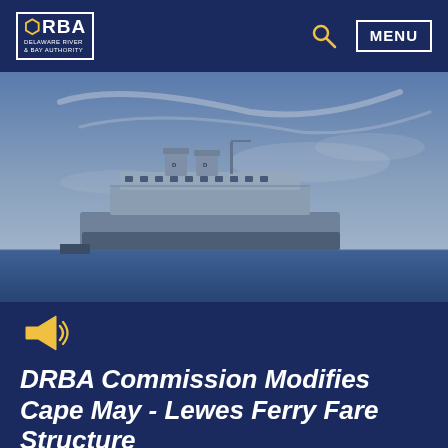DRBA DELAWARE RIVER & BAY AUTHORITY — MENU
[Figure (photo): A large ferry boat on calm water under a partly cloudy blue sky, photographed from a distance at dock.]
[Figure (illustration): Yellow megaphone/announcement icon with sound lines]
DRBA Commission Modifies Cape May - Lewes Ferry Fare Structure